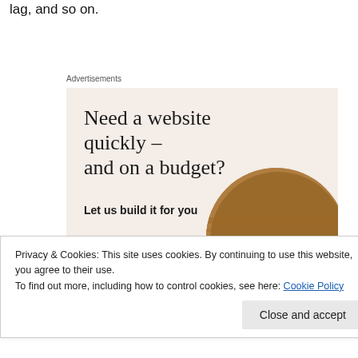lag, and so on.
Advertisements
[Figure (other): Advertisement banner with beige background. Headline: 'Need a website quickly – and on a budget?' Subtext: 'Let us build it for you'. Button: 'Let's get started'. Circular photo of person's hands working on a laptop.]
Privacy & Cookies: This site uses cookies. By continuing to use this website, you agree to their use.
To find out more, including how to control cookies, see here: Cookie Policy
Close and accept